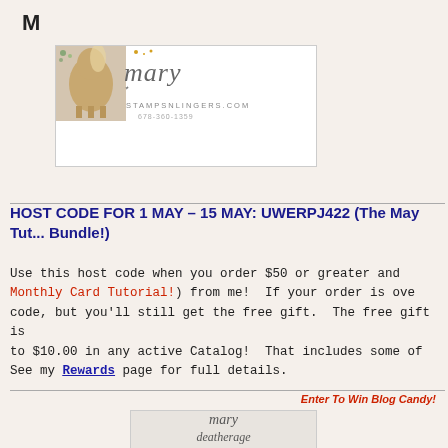M
[Figure (logo): Mary Stampsnlingers.com logo with horse image, cursive mary text, stampsnlingers.com, 678-360-1359]
HOST CODE FOR 1 MAY – 15 MAY: UWERPJ422 (The May Tutorial Bundle!)
Use this host code when you order $50 or greater and (Monthly Card Tutorial!) from me!  If your order is over code, but you'll still get the free gift.  The free gift is to $10.00 in any active Catalog!  That includes some of See my Rewards page for full details.
Enter To Win Blog Candy!
[Figure (photo): Bottom image showing mary deatherage stampsnlingers text/logo]